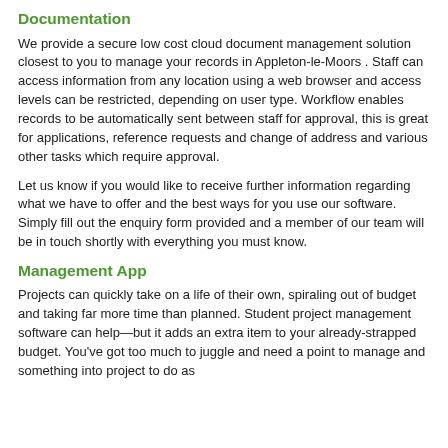Documentation
We provide a secure low cost cloud document management solution closest to you to manage your records in Appleton-le-Moors . Staff can access information from any location using a web browser and access levels can be restricted, depending on user type. Workflow enables records to be automatically sent between staff for approval, this is great for applications, reference requests and change of address and various other tasks which require approval.
Let us know if you would like to receive further information regarding what we have to offer and the best ways for you use our software. Simply fill out the enquiry form provided and a member of our team will be in touch shortly with everything you must know.
Management App
Projects can quickly take on a life of their own, spiraling out of budget and taking far more time than planned. Student project management software can help—but it adds an extra item to your already-strapped budget. You've got too much to juggle and need a point to manage and something into project to do as